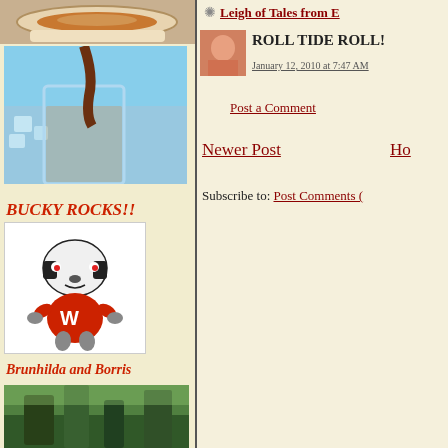[Figure (photo): Top portion of a coffee cup with foam, cropped]
[Figure (photo): Iced coffee being poured into a glass with ice cubes]
BUCKY ROCKS!!
[Figure (illustration): Bucky Badger mascot illustration for University of Wisconsin, wearing a red W sweater]
Brunhilda and Borris
[Figure (photo): Trees/forest scene, partially visible at bottom]
Leigh of Tales from E
[Figure (photo): Small avatar photo of a person with reddish hair]
ROLL TIDE ROLL!
January 12, 2010 at 7:47 AM
Post a Comment
Newer Post
Ho
Subscribe to: Post Comments (